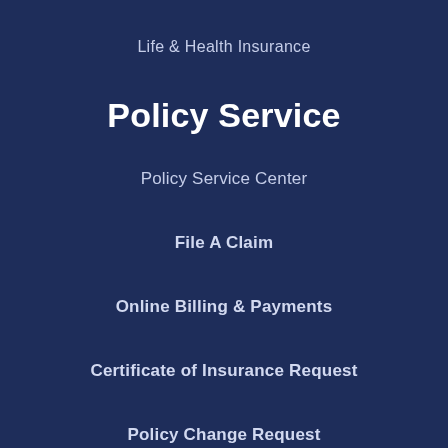Life & Health Insurance
Policy Service
Policy Service Center
File A Claim
Online Billing & Payments
Certificate of Insurance Request
Policy Change Request